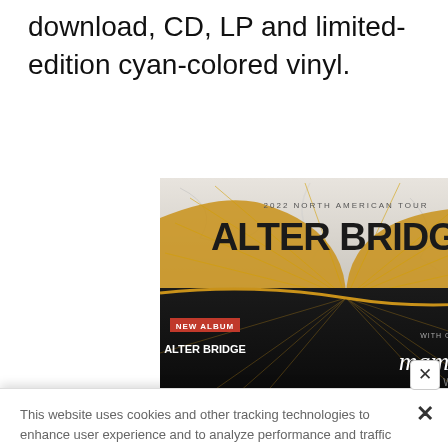download, CD, LP and limited-edition cyan-colored vinyl.
[Figure (photo): Alter Bridge 2022 North American Tour advertisement featuring 'Pawns & Kings' album artwork with skull and snake imagery, with guests Mammoth WVH]
This website uses cookies and other tracking technologies to enhance user experience and to analyze performance and traffic on our website. Information about your use of our site may also be shared with social media, advertising, retail and analytics providers and partners. Privacy Policy
[Figure (photo): At The Gates advertisement - August 29, The Fillmore Silver Spring]